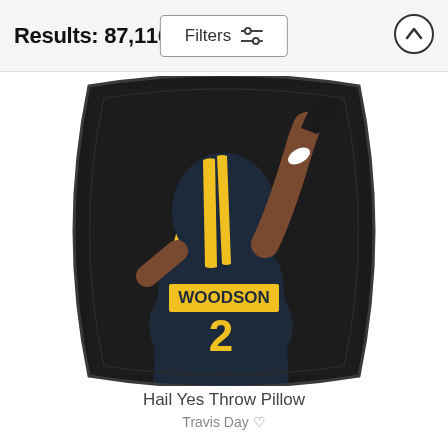Results: 87,116
Filters
[Figure (photo): A throw pillow product photo showing a painted artwork of a football player (Woodson #2) wearing a Michigan Wolverines yellow and blue helmet with arm raised, jersey reading WOODSON, on a dark background. The pillow has the characteristic rounded square shape.]
Hail Yes Throw Pillow
Travis Day ♡